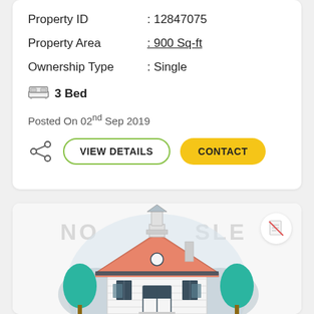Property ID : 12847075
Property Area : 900 Sq-ft
Ownership Type : Single
3 Bed
Posted On 02nd Sep 2019
[Figure (illustration): VIEW DETAILS button (outline green) and CONTACT button (yellow), with share icon]
[Figure (illustration): Illustration of a house with salmon/orange roof, white walls, dark blue trim, teal trees on sides, gray circle background, watermark text 'NO SALE' diagonally]